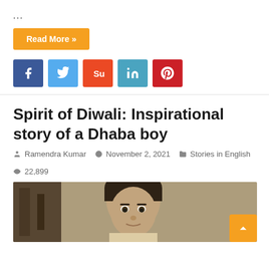...
Read More »
[Figure (other): Social media share buttons: Facebook, Twitter, StumbleUpon, LinkedIn, Pinterest]
Spirit of Diwali: Inspirational story of a Dhaba boy
Ramendra Kumar   November 2, 2021   Stories in English   22,899
[Figure (photo): Photo of a young boy (Dhaba boy) looking at the camera, with a blurred background]